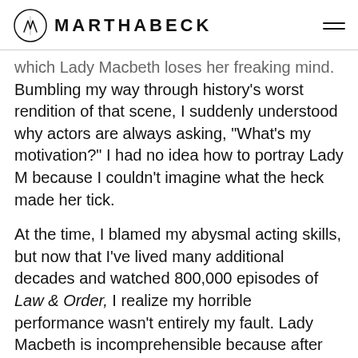MARTHABECK
which Lady Macbeth loses her freaking mind. Bumbling my way through history's worst rendition of that scene, I suddenly understood why actors are always asking, "What's my motivation?" I had no idea how to portray Lady M because I couldn't imagine what the heck made her tick.
At the time, I blamed my abysmal acting skills, but now that I've lived many additional decades and watched 800,000 episodes of Law & Order, I realize my horrible performance wasn't entirely my fault. Lady Macbeth is incomprehensible because after years of secrets, lies, and manipulation, her mind is such a mess even she can't find her way around it.